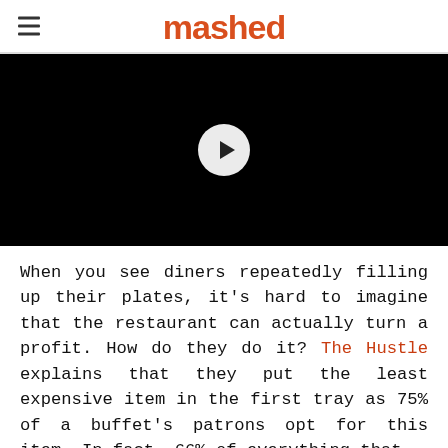mashed
[Figure (screenshot): Black video player with a white circular play button in the center]
When you see diners repeatedly filling up their plates, it's hard to imagine that the restaurant can actually turn a profit. How do they do it? The Hustle explains that they put the least expensive item in the first tray as 75% of a buffet's patrons opt for this item. In fact, 66% of everything that